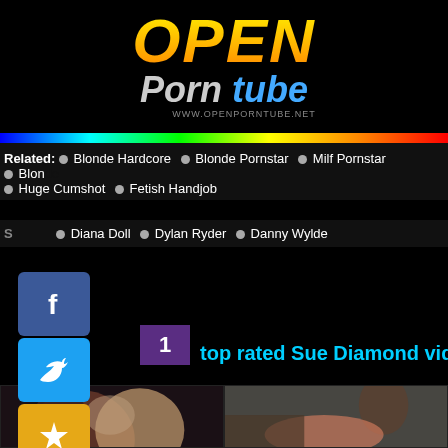OPEN Porn Tube — www.openporntube.net
Related: Blonde Hardcore · Blonde Pornstar · Milf Pornstar · Blonde · Huge Cumshot · Fetish Handjob
Diana Doll · Dylan Ryder · Danny Wylde
1
top rated Sue Diamond videos
[Figure (photo): Thumbnail of two women, one dark-haired one blonde, in a dark indoor scene]
[Figure (photo): Thumbnail of a man and a blonde woman in a warehouse/industrial setting]